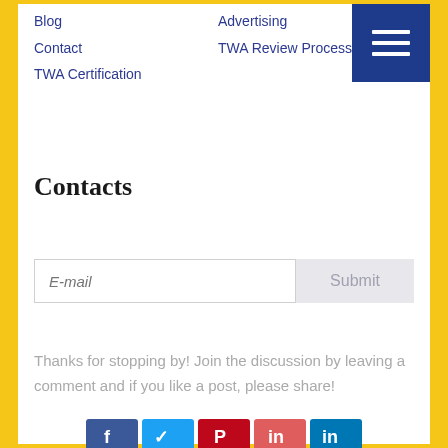Blog  Contact  TWA Certification  |  Advertising  TWA Review Process
Contacts
Get TWA Certification
E-mail  Submit
Thanks for stopping by! Join the discussion by leaving a comment and if you like a post, please share!
[Figure (other): Social media share buttons: Facebook, Twitter, Pinterest, Reddit, LinkedIn]